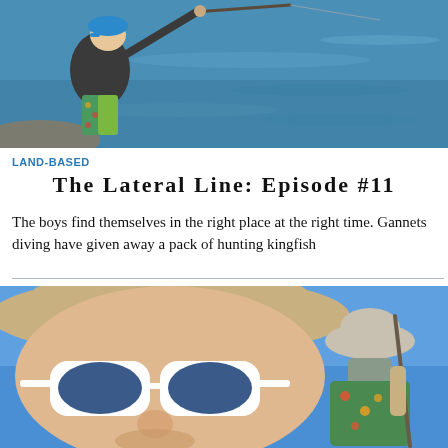[Figure (photo): Person wearing a blue cap and dark hoodie with colorful patterned pants, fishing with a rod at the edge of blue water]
LAND-BASED
The Lateral Line: Episode #11
The boys find themselves in the right place at the right time. Gannets diving have given away a pack of hunting kingfish
[Figure (photo): Close-up selfie of a man wearing white sunglasses and a wide-brim hat, with another person in a green floral shirt and bucket hat holding a fishing rod visible in the background against a blue sky]